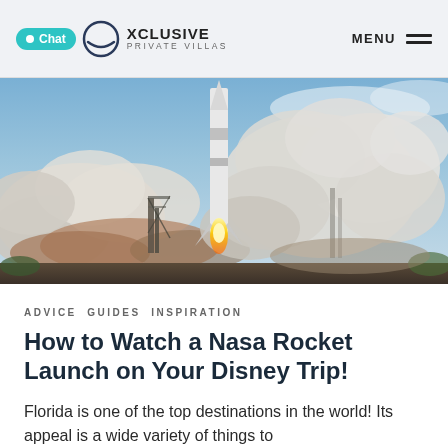Chat XCLUSIVE PRIVATE VILLAS | MENU
[Figure (photo): Rocket launch at Kennedy Space Center, Florida. A rocket rises on a column of fire and smoke, with large clouds of white steam and smoke billowing outward at the base against a partly cloudy blue sky.]
ADVICE GUIDES INSPIRATION
How to Watch a Nasa Rocket Launch on Your Disney Trip!
Florida is one of the top destinations in the world! Its appeal is a wide variety of things to